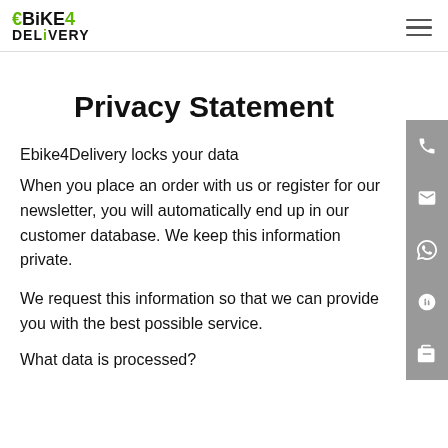eBIKE4DELIVERY
Privacy Statement
Ebike4Delivery locks your data
When you place an order with us or register for our newsletter, you will automatically end up in our customer database. We keep this information private.
We request this information so that we can provide you with the best possible service.
What data is processed?